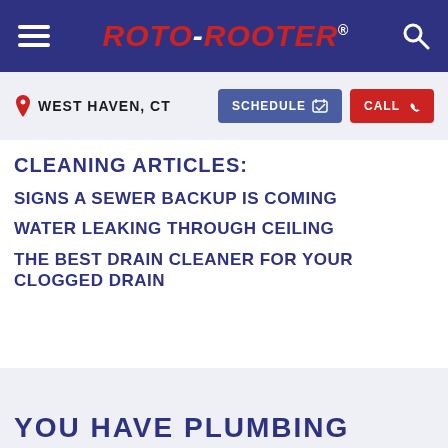ROTO-ROOTER
WEST HAVEN, CT
CLEANING ARTICLES:
SIGNS A SEWER BACKUP IS COMING
WATER LEAKING THROUGH CEILING
THE BEST DRAIN CLEANER FOR YOUR CLOGGED DRAIN
YOU HAVE PLUMBING